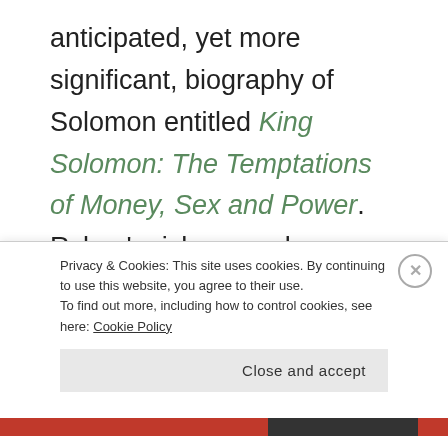anticipated, yet more significant, biography of Solomon entitled King Solomon: The Temptations of Money, Sex and Power. Ryken's rich, gospel-saturated study of the life of Solomon from 1 Kings 1-11 is a compelling look at the rise and fall of Solomon's kingdom and how it points us to the greater Kingdom of Christ. Ryken takes his readers on an up-close-and-personal tour of the greatness that was Solomon's kingdom – his
Privacy & Cookies: This site uses cookies. By continuing to use this website, you agree to their use.
To find out more, including how to control cookies, see here: Cookie Policy
Close and accept